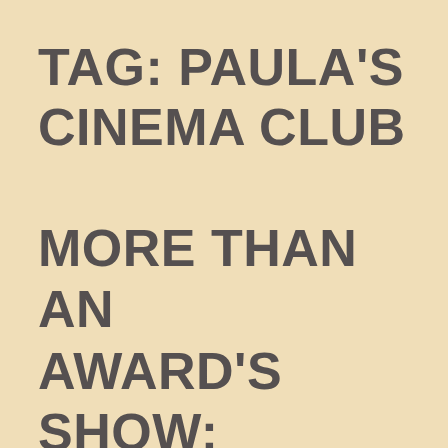TAG: PAULA'S CINEMA CLUB
MORE THAN AN AWARD'S SHOW: OSCARS, THE HOST AND FORREST GUMP